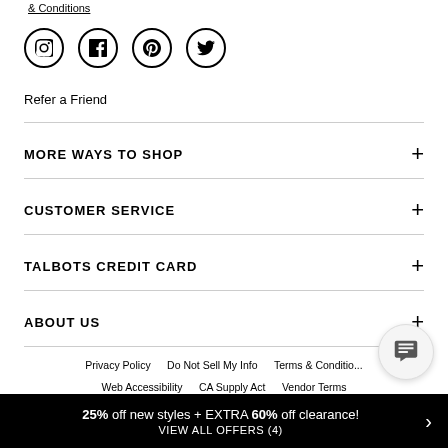& Conditions
[Figure (illustration): Four social media icons in circles: Instagram, Facebook, Pinterest, Twitter]
Refer a Friend
MORE WAYS TO SHOP
CUSTOMER SERVICE
TALBOTS CREDIT CARD
ABOUT US
Privacy Policy   Do Not Sell My Info   Terms & Conditions   Web Accessibility   CA Supply Act   Vendor Terms
25% off new styles + EXTRA 60% off clearance!  VIEW ALL OFFERS (4)